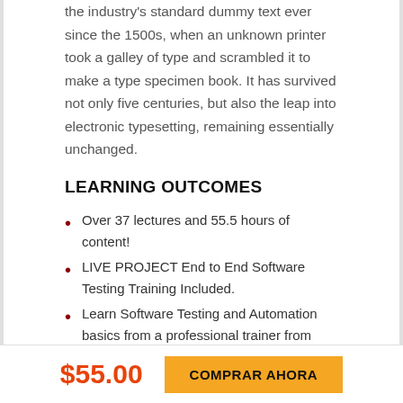and typesetting industry. Lorem Ipsum has been the industry's standard dummy text ever since the 1500s, when an unknown printer took a galley of type and scrambled it to make a type specimen book. It has survived not only five centuries, but also the leap into electronic typesetting, remaining essentially unchanged.
LEARNING OUTCOMES
Over 37 lectures and 55.5 hours of content!
LIVE PROJECT End to End Software Testing Training Included.
Learn Software Testing and Automation basics from a professional trainer from your own desk.
Information on theoretical training to...
$55.00
COMPRAR AHORA